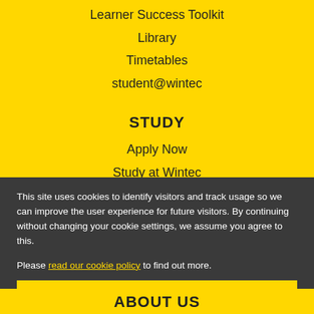Learner Success Toolkit
Library
Timetables
student@wintec
STUDY
Apply Now
Study at Wintec
International
Professional Programmes
This site uses cookies to identify visitors and track usage so we can improve the user experience for future visitors. By continuing without changing your cookie settings, we assume you agree to this.

Please read our cookie policy to find out more.
OK
ABOUT US